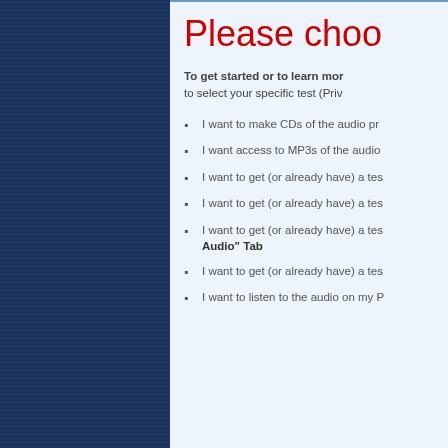Please choo
To get started or to learn mor to select your specific test (Priv
I want to make CDs of the audio pr
I want access to MP3s of the audio
I want to get (or already have) a tes
I want to get (or already have) a tes
I want to get (or already have) a tes Audio" Tab
I want to get (or already have) a tes
I want to listen to the audio on my P